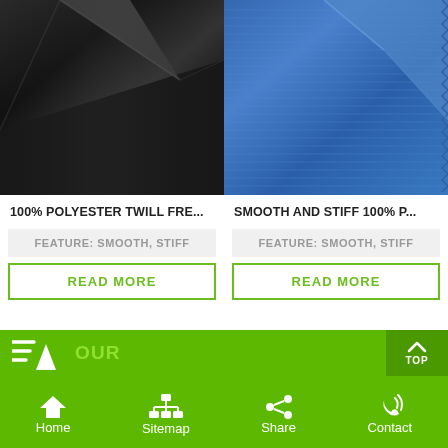[Figure (photo): Close-up of black polyester twill fabric folded]
[Figure (photo): Close-up of blue smooth stiff 100% polyester fabric folded with zigzag edge]
100% POLYESTER TWILL FRE...
SMOOTH AND STIFF 100% P...
FEATURE: SMOOTH, STIFF
READ MORE
FEATURE: SMOOTH, STIFF
READ MORE
OUR | Home | Sitemap | Share | Contact